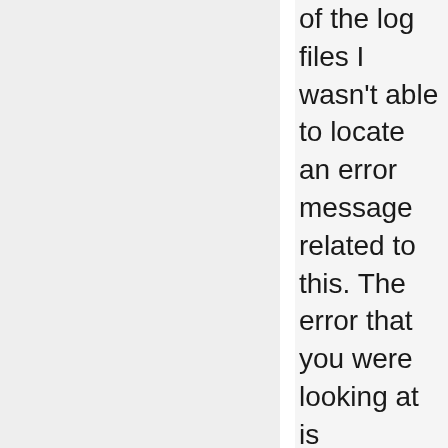of the log files I wasn't able to locate an error message related to this. The error that you were looking at is harmless